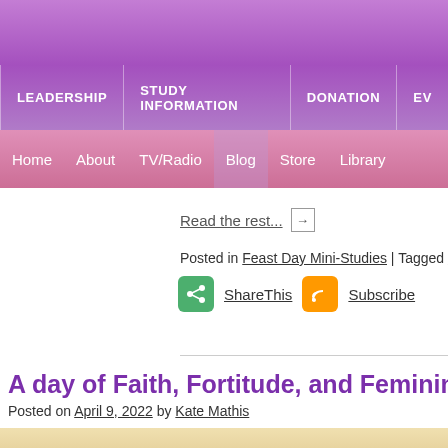LEADERSHIP | STUDY INFORMATION | DONATION | EV...
Home | About | TV/Radio | Blog | Store | Library
Read the rest... →
Posted in Feast Day Mini-Studies | Tagged Catholic Women Saints
ShareThis   Subscribe
A day of Faith, Fortitude, and Feminin...
Posted on April 9, 2022 by Kate Mathis
[Figure (photo): Interior architectural photo showing ornate decorative wall panels and columns in gold and brown tones]